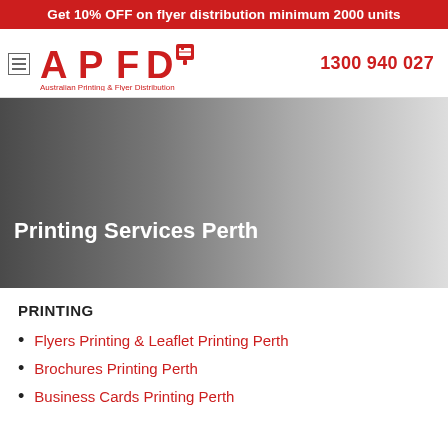Get 10% OFF on flyer distribution minimum 2000 units
[Figure (logo): APFD Australian Printing & Flyer Distribution logo in red with mailbox icon]
1300 940 027
[Figure (photo): Hero banner with dark grey to light grey gradient background]
Printing Services Perth
PRINTING
Flyers Printing & Leaflet Printing Perth
Brochures Printing Perth
Business Cards Printing Perth